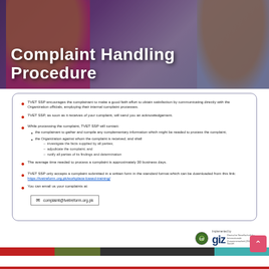[Figure (photo): Hero image showing a woman wearing a headset at a call center, with a man in the background, overlaid with the title 'Complaint Handling Procedure' in white text]
Complaint Handling Procedure
TVET SSP encourages the complainant to make a good faith effort to obtain satisfaction by communicating directly with the Organization officials, employing their internal complaint processes.
TVET SSP, as soon as it receives of your complaint, will send you an acknowledgement.
While processing the complaint, TVET SSP will contact: the complainant to gather and compile any complementary information which might be needed to process the complaint; the Organization against whom the complaint is received; and shall investigate the facts supplied by all parties; adjudicate the complaint; and notify all parties of its findings and determination
The average time needed to process a complaint is approximately 30 business days.
TVET SSP only accepts a complaint submitted in a written form in the standard format which can be downloaded from this link: https://tvetreform.org.pk/workplace-based-training/
You can email us your complaints at:
complaint@tvetreform.org.pk